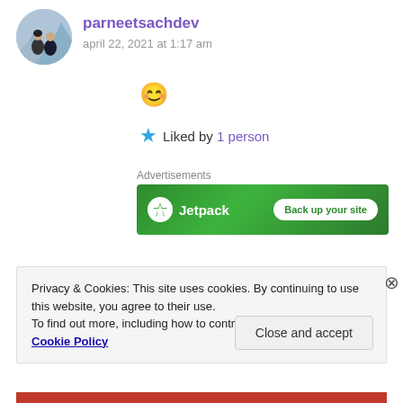parneetsachdev
april 22, 2021 at 1:17 am
[Figure (photo): Avatar photo of two people standing outdoors on a mountain road]
😊
Liked by 1 person
Advertisements
[Figure (other): Jetpack advertisement banner with green background showing Jetpack logo and 'Back up your site' button]
Privacy & Cookies: This site uses cookies. By continuing to use this website, you agree to their use. To find out more, including how to control cookies, see here: Cookie Policy
Close and accept